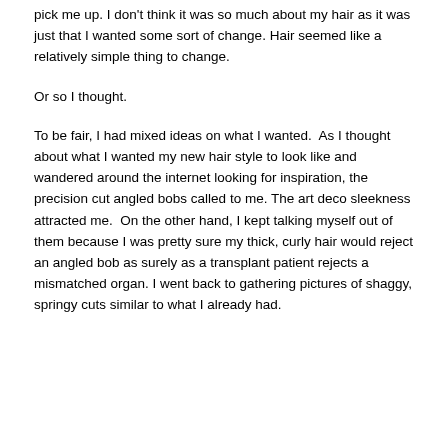pick me up. I don't think it was so much about my hair as it was just that I wanted some sort of change. Hair seemed like a relatively simple thing to change.
Or so I thought.
To be fair, I had mixed ideas on what I wanted.  As I thought about what I wanted my new hair style to look like and wandered around the internet looking for inspiration, the precision cut angled bobs called to me. The art deco sleekness attracted me.  On the other hand, I kept talking myself out of them because I was pretty sure my thick, curly hair would reject an angled bob as surely as a transplant patient rejects a mismatched organ. I went back to gathering pictures of shaggy, springy cuts similar to what I already had.